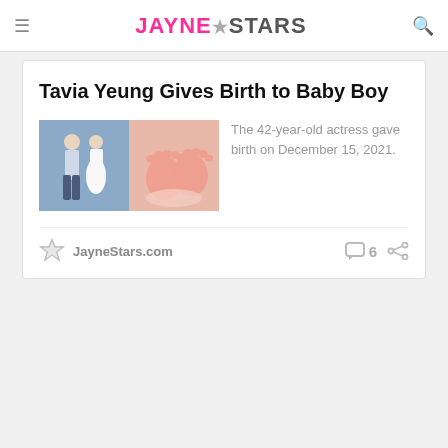JAYNE★STARS
Tavia Yeung Gives Birth to Baby Boy
[Figure (photo): Composite of two photos: left shows a couple (man in white shirt and woman in white dress), right shows newborn baby feet]
The 42-year-old actress gave birth on December 15, 2021.
JayneStars.com
6